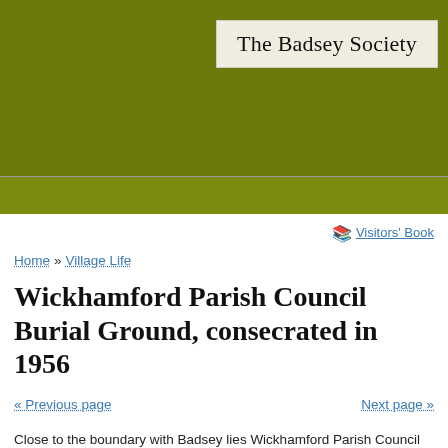The Badsey Society
Visitors' Book
Home » Village Life
Wickhamford Parish Council Burial Ground, consecrated in 1956
« Previous page   Next page »
Close to the boundary with Badsey lies Wickhamford Parish Council Burial Ground, in a rural setting with a backdrop of the